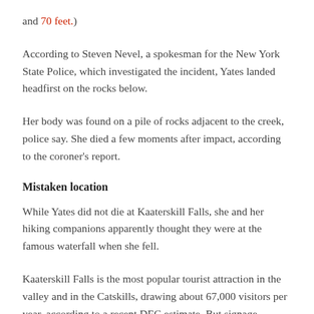and 70 feet.)
According to Steven Nevel, a spokesman for the New York State Police, which investigated the incident, Yates landed headfirst on the rocks below.
Her body was found on a pile of rocks adjacent to the creek, police say. She died a few moments after impact, according to the coroner's report.
Mistaken location
While Yates did not die at Kaaterskill Falls, she and her hiking companions apparently thought they were at the famous waterfall when she fell.
Kaaterskill Falls is the most popular tourist attraction in the valley and in the Catskills, drawing about 67,000 visitors per year, according to a recent DEC estimate. But signage directing visitors